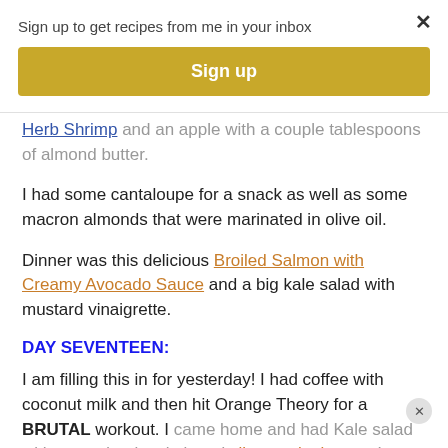Sign up to get recipes from me in your inbox
Sign up
Herb Shrimp and an apple with a couple tablespoons of almond butter.
I had some cantaloupe for a snack as well as some macron almonds that were marinated in olive oil.
Dinner was this delicious Broiled Salmon with Creamy Avocado Sauce and a big kale salad with mustard vinaigrette.
DAY SEVENTEEN:
I am filling this in for yesterday! I had coffee with coconut milk and then hit Orange Theory for a BRUTAL workout. I came home and had Kale salad with ground turkey in it and cilantro vinaigrette. It was not glamorous- but it was tasty and really nutritious.